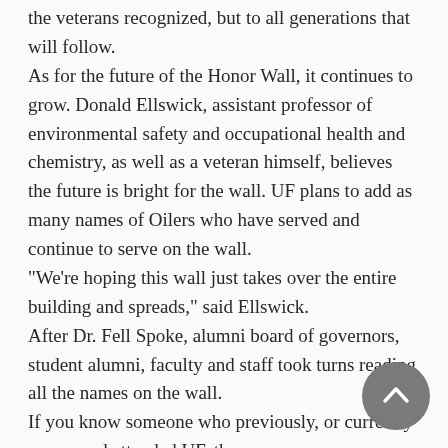the veterans recognized, but to all generations that will follow.
As for the future of the Honor Wall, it continues to grow. Donald Ellswick, assistant professor of environmental safety and occupational health and chemistry, as well as a veteran himself, believes the future is bright for the wall. UF plans to add as many names of Oilers who have served and continue to serve on the wall.
"We're hoping this wall just takes over the entire building and spreads," said Ellswick.
After Dr. Fell Spoke, alumni board of governors, student alumni, faculty and staff took turns reading all the names on the wall.
If you know someone who previously, or currently serves and attended UF, the